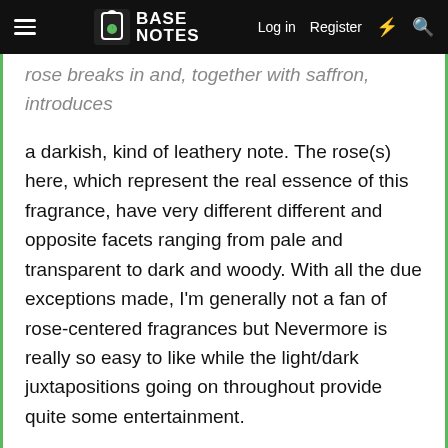BASE NOTES — Log in  Register
rose breaks in and, together with saffron, introduces a darkish, kind of leathery note. The rose(s) here, which represent the real essence of this fragrance, have very different different and opposite facets ranging from pale and transparent to dark and woody. With all the due exceptions made, I'm generally not a fan of rose-centered fragrances but Nevermore is really so easy to like while the light/dark juxtapositions going on throughout provide quite some entertainment.

My only concern is about the drydown which compared to both the striking opening and the entertaining middle-phase, feels a bit too… generically woody-musky, maybe? Probably not